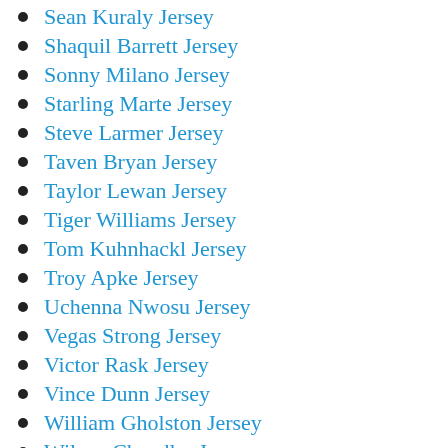Sean Kuraly Jersey
Shaquil Barrett Jersey
Sonny Milano Jersey
Starling Marte Jersey
Steve Larmer Jersey
Taven Bryan Jersey
Taylor Lewan Jersey
Tiger Williams Jersey
Tom Kuhnhackl Jersey
Troy Apke Jersey
Uchenna Nwosu Jersey
Vegas Strong Jersey
Victor Rask Jersey
Vince Dunn Jersey
William Gholston Jersey
Wilson Chandler Jersey
Yasiel Puig Jersey